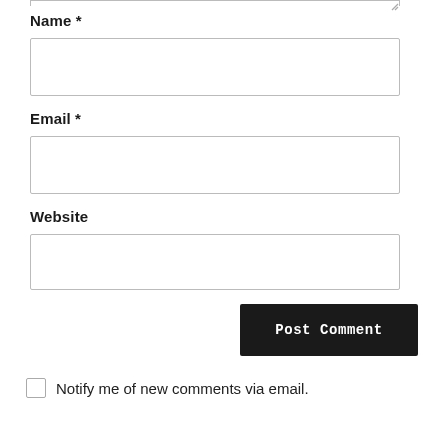[Figure (screenshot): Top edge of a textarea input box (bottom portion visible with resize handle at top right)]
Name *
[Figure (screenshot): Empty text input box for Name field]
Email *
[Figure (screenshot): Empty text input box for Email field]
Website
[Figure (screenshot): Empty text input box for Website field]
[Figure (screenshot): Post Comment button, dark background with white bold text]
Notify me of new comments via email.